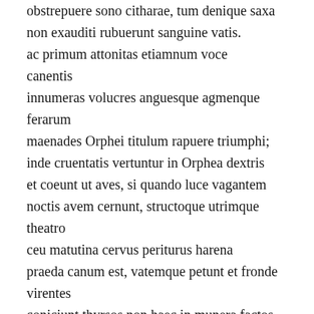obstrepuere sono citharae, tum denique saxa non exauditi rubuerunt sanguine vatis. ac primum attonitas etiamnum voce canentis innumeras volucres anguesque agmenque ferarum maenades Orphei titulum rapuere triumphi; inde cruentatis vertuntur in Orphea dextris et coeunt ut aves, si quando luce vagantem noctis avem cernunt, structoque utrimque theatro ceu matutina cervus periturus harena praeda canum est, vatemque petunt et fronde virentes coniciunt thyrsos non haec in munera factos. hae glaebas, illae direptos arbore ramos, pars torquent silices; neu desint tela furori, forte boves presso subigebant vomere terram,